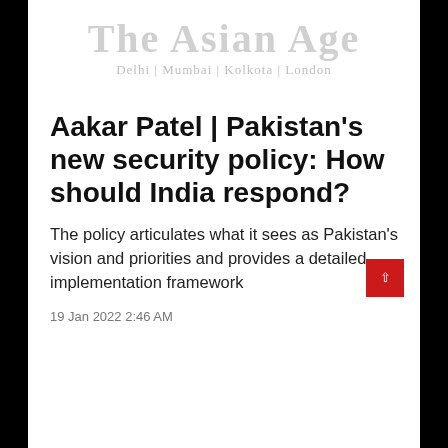The Asian Age
Delhi | Mumbai | Kolkota | London
Aakar Patel | Pakistan's new security policy: How should India respond?
The policy articulates what it sees as Pakistan's vision and priorities and provides a detailed implementation framework
19 Jan 2022 2:46 AM